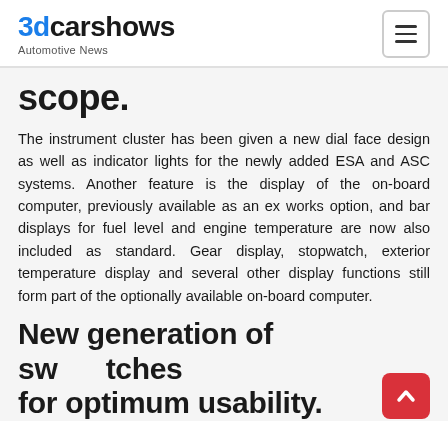3dcarshows — Automotive News
scope.
The instrument cluster has been given a new dial face design as well as indicator lights for the newly added ESA and ASC systems. Another feature is the display of the on-board computer, previously available as an ex works option, and bar displays for fuel level and engine temperature are now also included as standard. Gear display, stopwatch, exterior temperature display and several other display functions still form part of the optionally available on-board computer.
New generation of switches for optimum usability.